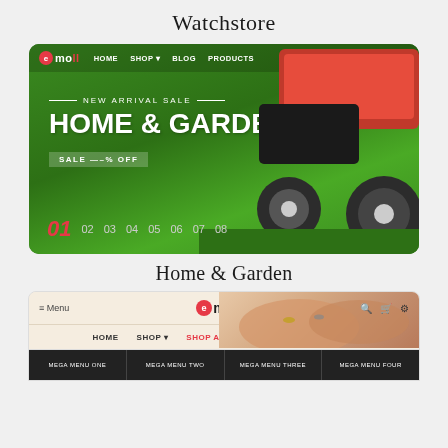Watchstore
[Figure (screenshot): Screenshot of an e-commerce website (emoll) with a Home & Garden theme, showing a lawnmower on green grass background, navigation bar with HOME, SHOP, BLOG, PRODUCTS links, hero text 'NEW ARRIVAL SALE / HOME & GARDEN / SALE --% OFF', and slide numbers 01 02 03 04 05 06 07 08]
Home & Garden
[Figure (screenshot): Screenshot of another emoll website template showing navigation bar with hamburger menu, logo, HOME, SHOP, SHOP ALL, BLOG, CONTACT US links, and mega menu row at bottom]